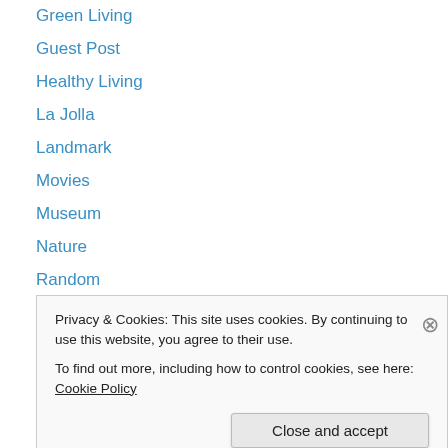Green Living
Guest Post
Healthy Living
La Jolla
Landmark
Movies
Museum
Nature
Random
recap
Restaurants
Desserts
San Diego
Privacy & Cookies: This site uses cookies. By continuing to use this website, you agree to their use.
To find out more, including how to control cookies, see here: Cookie Policy
Close and accept